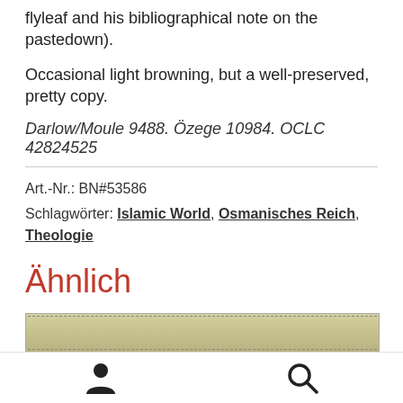flyleaf and his bibliographical note on the pastedown).
Occasional light browning, but a well-preserved, pretty copy.
Darlow/Moule 9488. Özege 10984. OCLC 42824525
Art.-Nr.: BN#53586
Schlagwörter: Islamic World, Osmanisches Reich, Theologie
Ähnlich
[Figure (photo): Partial view of a book spine or cover, beige/tan colored with dashed lines visible.]
Navigation footer with user icon and search icon